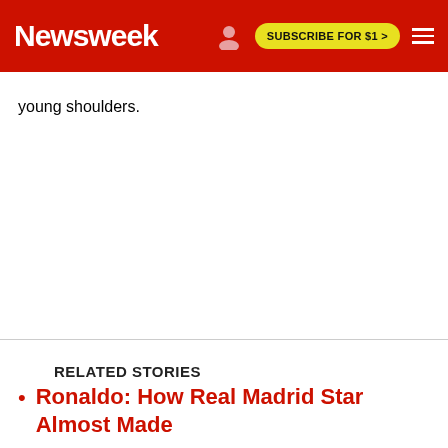Newsweek  SUBSCRIBE FOR $1 >
young shoulders.
RELATED STORIES
Ronaldo: How Real Madrid Star Almost Made